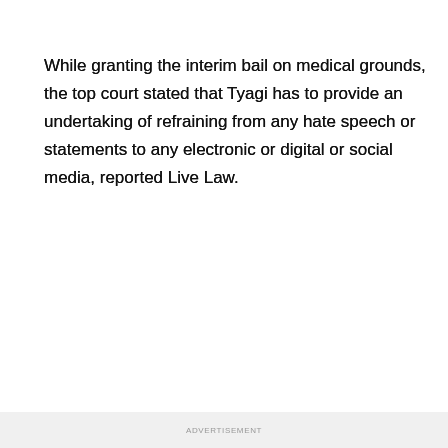While granting the interim bail on medical grounds, the top court stated that Tyagi has to provide an undertaking of refraining from any hate speech or statements to any electronic or digital or social media, reported Live Law.
ADVERTISEMENT
The top court was hearing a petition filed by Tyagi challenging a Uttarakhand High Court order rejecting his bail plea in the Haridwar Dharm Sansad hate speech case.
Also Read